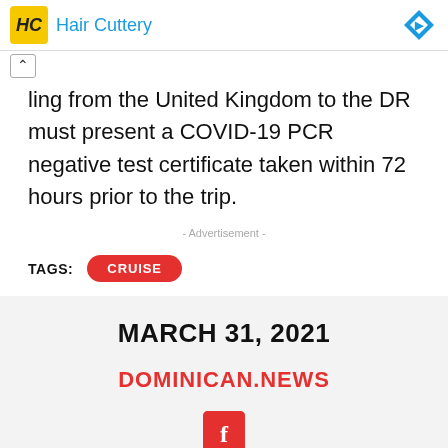[Figure (other): Hair Cuttery advertisement bar with logo and diamond icon]
ling from the United Kingdom to the DR must present a COVID-19 PCR negative test certificate taken within 72 hours prior to the trip.
- Advertisement -
TAGS: CRUISE
MARCH 31, 2021
DOMINICAN.NEWS
[Figure (logo): Facebook share button (red square with white f)]